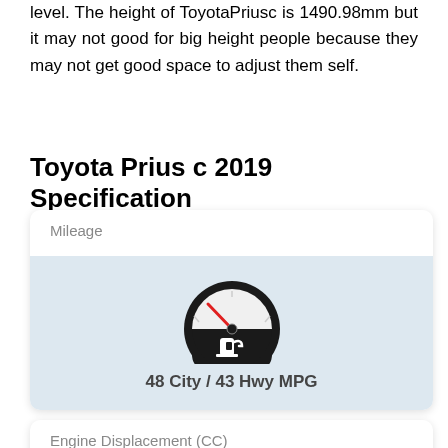level. The height of ToyotaPriusc is 1490.98mm but it may not good for big height people because they may not get good space to adjust them self.
Toyota Prius c 2019 Specification
[Figure (infographic): Mileage card showing a fuel gauge icon with a red needle and a fuel pump symbol. Text below reads: 48 City / 43 Hwy MPG]
[Figure (infographic): Engine Displacement (CC) card showing engine/piston icon, partially visible at bottom of page.]